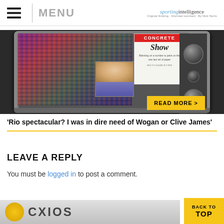MENU | sporting intelligence
[Figure (photo): Vintage television set showing a sports crowd, a CONCRETE Show advertisement box, a person in a suit thumbnail, and knobs on the right side. A yellow READ MORE > button is visible at the bottom right of the TV.]
'Rio spectacular? I was in dire need of Wogan or Clive James'
LEAVE A REPLY
You must be logged in to post a comment.
[Figure (logo): Bottom banner showing a yellow circular logo and brand text, with a BACK TO TOP button in yellow at bottom right.]